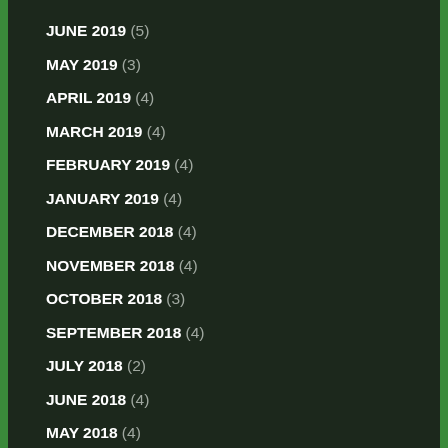JUNE 2019 (5)
MAY 2019 (3)
APRIL 2019 (4)
MARCH 2019 (4)
FEBRUARY 2019 (4)
JANUARY 2019 (4)
DECEMBER 2018 (4)
NOVEMBER 2018 (4)
OCTOBER 2018 (3)
SEPTEMBER 2018 (4)
JULY 2018 (2)
JUNE 2018 (4)
MAY 2018 (4)
APRIL 2018 (5)
FEBRUARY 2018 (4)